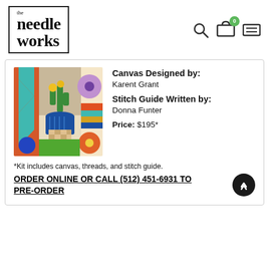[Figure (logo): The Needle Works logo — bordered box with 'the needle works' in serif font]
[Figure (screenshot): Navigation icons: search magnifying glass, shopping cart with badge showing 0, hamburger menu]
[Figure (photo): Needlepoint canvas photo showing colorful design with cactus, flowers, geometric patterns in blue, orange, green, red, purple]
Canvas Designed by: Karent Grant
Stitch Guide Written by: Donna Funter
Price: $195*
*Kit includes canvas, threads, and stitch guide.
ORDER ONLINE OR CALL (512) 451-6931 TO PRE-ORDER